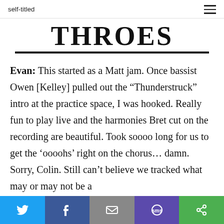self-titled
THROES
Evan: This started as a Matt jam. Once bassist Owen [Kelley] pulled out the “Thunderstruck” intro at the practice space, I was hooked. Really fun to play live and the harmonies Bret cut on the recording are beautiful. Took soooo long for us to get the ‘oooohs’ right on the chorus… damn. Sorry, Colin. Still can’t believe we tracked what may or may not be a
Share buttons: Twitter, Facebook, Email, SMS, Other